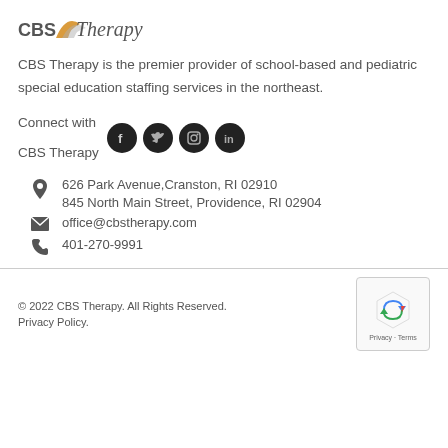[Figure (logo): CBS Therapy logo with stylized arrow/swoosh icon and text 'CBS Therapy']
CBS Therapy is the premier provider of school-based and pediatric special education staffing services in the northeast.
Connect with CBS Therapy
[Figure (infographic): Social media icons: Facebook, Twitter, Instagram, LinkedIn — black circles]
626 Park Avenue,Cranston, RI 02910
845 North Main Street, Providence, RI 02904
office@cbstherapy.com
401-270-9991
© 2022 CBS Therapy. All Rights Reserved. Privacy Policy.